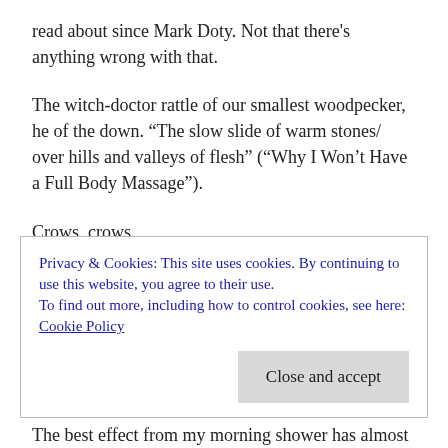read about since Mark Doty. Not that there's anything wrong with that.
The witch-doctor rattle of our smallest woodpecker, he of the down. “The slow slide of warm stones/ over hills and valleys of flesh” (“Why I Won’t Have a Full Body Massage”).
Crows, crows.
Lockward tends to put poems with similar themes together. Next up is “My Mother Turns Her Back.” Wow, I
Privacy & Cookies: This site uses cookies. By continuing to use this website, you agree to their use.
To find out more, including how to control cookies, see here: Cookie Policy
Close and accept
The best effect from my morning shower has almost